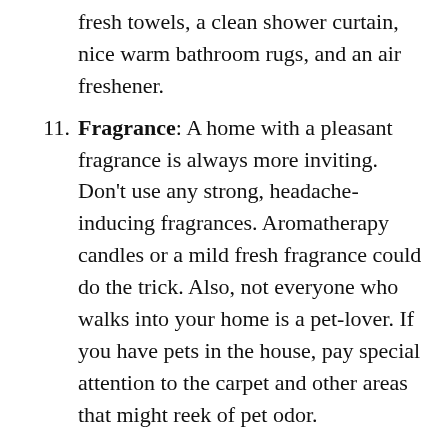fresh towels, a clean shower curtain, nice warm bathroom rugs, and an air freshener.
Fragrance: A home with a pleasant fragrance is always more inviting. Don't use any strong, headache-inducing fragrances. Aromatherapy candles or a mild fresh fragrance could do the trick. Also, not everyone who walks into your home is a pet-lover. If you have pets in the house, pay special attention to the carpet and other areas that might reek of pet odor.
Presentation: Leave a basket of baked cookies, some snacks and a beverage for visitors. Extra touches go a long way in making the home-buying experience positively memorable. Even if people who come to your house don't end up buying it